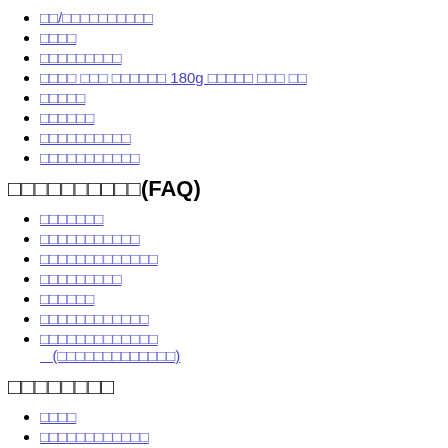□□/□□□□□□□□□□
□□□□
□□□□□□□□□
□□□□ □□□ □□□□□□ 180g □□□□□ □□□ □□
□□□□□
□□□□□□
□□□□□□□□□□
□□□□□□□□□□□
□□□□□□□□□□(FAQ)
□□□□□□□
□□□□□□□□□□□
□□□□□□□□□□□□□
□□□□□□□□□
□□□□□□
□□□□□□□□□□□□
□□□□□□□□□□□□□ (□□□□□□□□□□□□□)
□□□□□□□□
□□□□
□□□□□□□□□□□□